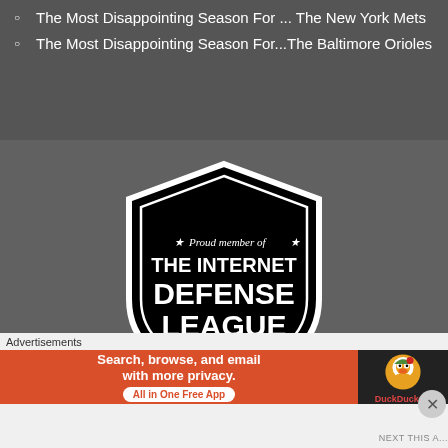The Most Disappointing Season For ... The New York Mets
The Most Disappointing Season For...The Baltimore Orioles
[Figure (logo): Black shield-shaped badge with text: 'Proud member of THE INTERNET DEFENSE LEAGUE' with stars, white text on black background]
Advertisements
[Figure (illustration): DuckDuckGo ad banner: orange section with 'Search, browse, and email with more privacy. All in One Free App' and black section with DuckDuckGo duck logo]